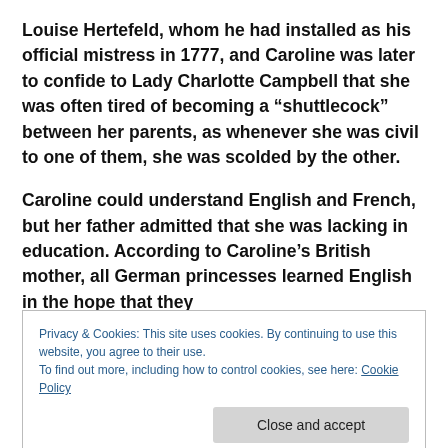Louise Hertefeld, whom he had installed as his official mistress in 1777, and Caroline was later to confide to Lady Charlotte Campbell that she was often tired of becoming a “shuttlecock” between her parents, as whenever she was civil to one of them, she was scolded by the other.
Caroline could understand English and French, but her father admitted that she was lacking in education. According to Caroline’s British mother, all German princesses learned English in the hope that they
Privacy & Cookies: This site uses cookies. By continuing to use this website, you agree to their use.
To find out more, including how to control cookies, see here: Cookie Policy
1781, and noted that she was an attractive girl with